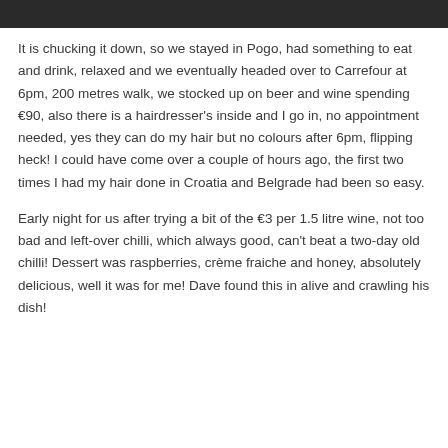[Figure (photo): Dark photograph strip at the top of the page]
It is chucking it down, so we stayed in Pogo, had something to eat and drink, relaxed and we eventually headed over to Carrefour at 6pm, 200 metres walk, we stocked up on beer and wine spending €90, also there is a hairdresser's inside and I go in, no appointment needed, yes they can do my hair but no colours after 6pm, flipping heck! I could have come over a couple of hours ago, the first two times I had my hair done in Croatia and Belgrade had been so easy.
Early night for us after trying a bit of the €3 per 1.5 litre wine, not too bad and left-over chilli, which always good, can't beat a two-day old chilli! Dessert was raspberries, crème fraiche and honey, absolutely delicious, well it was for me! Dave found this in alive and crawling his dish!